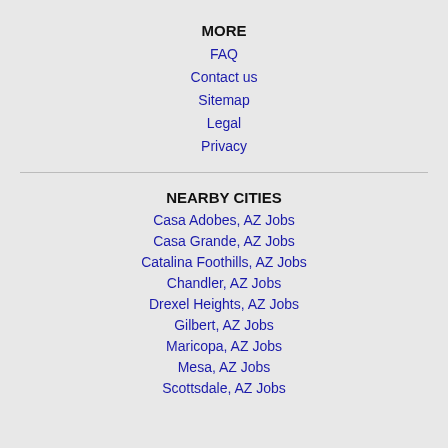MORE
FAQ
Contact us
Sitemap
Legal
Privacy
NEARBY CITIES
Casa Adobes, AZ Jobs
Casa Grande, AZ Jobs
Catalina Foothills, AZ Jobs
Chandler, AZ Jobs
Drexel Heights, AZ Jobs
Gilbert, AZ Jobs
Maricopa, AZ Jobs
Mesa, AZ Jobs
Scottsdale, AZ Jobs